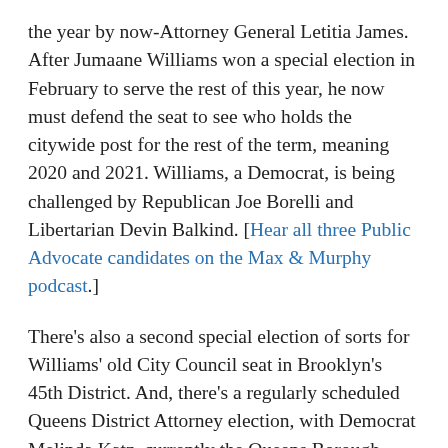the year by now-Attorney General Letitia James. After Jumaane Williams won a special election in February to serve the rest of this year, he now must defend the seat to see who holds the citywide post for the rest of the term, meaning 2020 and 2021. Williams, a Democrat, is being challenged by Republican Joe Borelli and Libertarian Devin Balkind. [Hear all three Public Advocate candidates on the Max & Murphy podcast.]
There's also a second special election of sorts for Williams' old City Council seat in Brooklyn's 45th District. And, there's a regularly scheduled Queens District Attorney election, with Democrat Melinda Katz, currently the Queens Borough President, heavily favored to win after eeking out the primary in a recount [Read: Melinda Katz's Path to the Precipice of Becoming Queens DA]. There are also judicial elections on the ballot. And, lastly, there are five "yes" or "no" questions on the back of the ballot (in tiny font) asked city voters